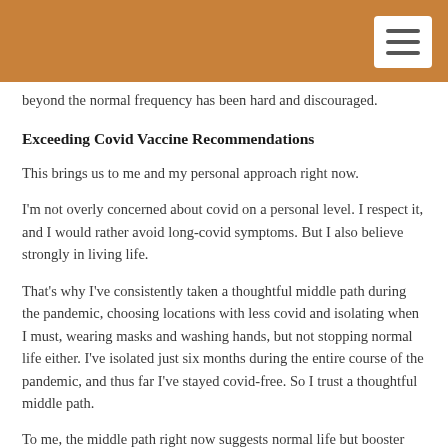beyond the normal frequency has been hard and discouraged.
Exceeding Covid Vaccine Recommendations
This brings us to me and my personal approach right now.
I'm not overly concerned about covid on a personal level. I respect it, and I would rather avoid long-covid symptoms. But I also believe strongly in living life.
That's why I've consistently taken a thoughtful middle path during the pandemic, choosing locations with less covid and isolating when I must, wearing masks and washing hands, but not stopping normal life either. I've isolated just six months during the entire course of the pandemic, and thus far I've stayed covid-free. So I trust a thoughtful middle path.
To me, the middle path right now suggests normal life but booster shots every 2-3 months until a better vaccine